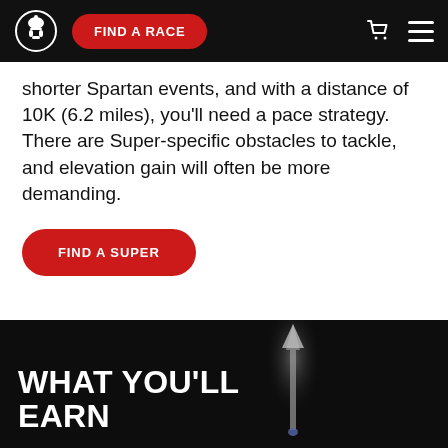FIND A RACE
shorter Spartan events, and with a distance of 10K (6.2 miles), you'll need a pace strategy. There are Super-specific obstacles to tackle, and elevation gain will often be more demanding.
FIND A SUPER
WHAT YOU'LL EARN